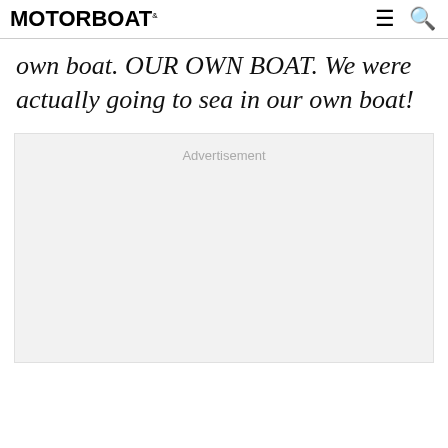MOTOR BOAT
own boat. OUR OWN BOAT. We were actually going to sea in our own boat!
[Figure (other): Advertisement placeholder box with grey background and 'Advertisement' label text]